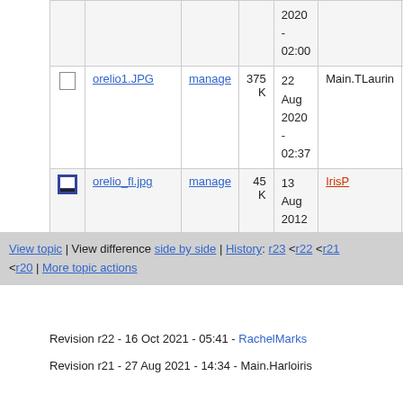|  | Name | Action | Size | Date | Who | Comment |
| --- | --- | --- | --- | --- | --- | --- |
|  |  |  |  | 2020
-
02:00 |  |  |
| [file] | orelio1.JPG | manage | 375 K | 22 Aug 2020 - 02:37 | Main.TLaurin |  |
| [img] | orelio_fl.jpg | manage | 45 K | 13 Aug 2012 - 01:30 | IrisP |  |
View topic | View difference side by side | History: r23 <r22 <r21 <r20 | More topic actions
Revision r22 - 16 Oct 2021 - 05:41 - RachelMarks
Revision r21 - 27 Aug 2021 - 14:34 - Main.Harloiris